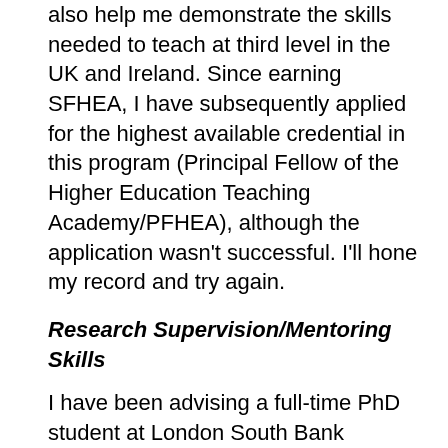also help me demonstrate the skills needed to teach at third level in the UK and Ireland. Since earning SFHEA, I have subsequently applied for the highest available credential in this program (Principal Fellow of the Higher Education Teaching Academy/PFHEA), although the application wasn't successful. I'll hone my record and try again.
Research Supervision/Mentoring Skills
I have been advising a full-time PhD student at London South Bank University (LSBU) since the start of my MSCA fellowship. The student's viva is scheduled, and on track, for August 2020. I have also mentoring 5-6 early career researchers. My activities in this realm include:
Mentoring a physics researcher through TU